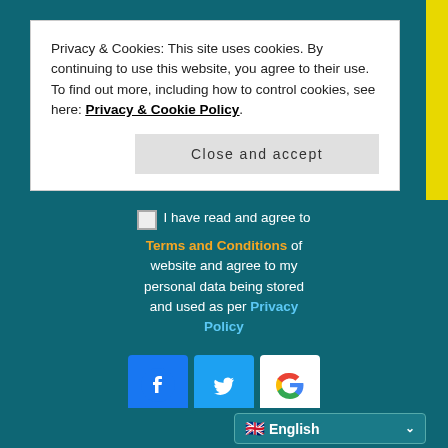Privacy & Cookies: This site uses cookies. By continuing to use this website, you agree to their use.
To find out more, including how to control cookies, see here: Privacy & Cookie Policy.
Close and accept
Login with your Social ID
I have read and agree to Terms and Conditions of website and agree to my personal data being stored and used as per Privacy Policy
[Figure (logo): Facebook, Twitter, and Google social login icons]
LOG IN
Register
English